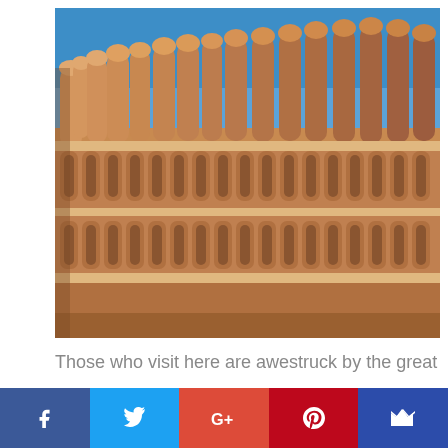[Figure (photo): Hawa Mahal (Palace of Winds) in Jaipur, India. The ornate sandstone facade with rows of arched windows and intricate latticework against a bright blue sky.]
Those who visit here are awestruck by the great
[Figure (infographic): Social media sharing bar with five buttons: Facebook (dark blue), Twitter (light blue), Google+ (red-orange), Pinterest (dark red), and email/crown icon (dark blue).]